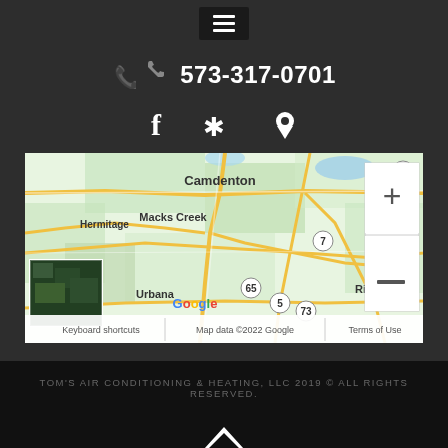[Figure (other): Hamburger menu button (three horizontal lines) on dark background]
573-317-0701
[Figure (other): Social media icons: Facebook (f), Yelp (star/asterisk), Google Maps (location pin)]
[Figure (map): Google Maps embed showing area around Camdenton, Missouri including Macks Creek, Hermitage, Urbana, and Richmond. Shows route 65, 73, 7, 5, and 17. Map data ©2022 Google. Includes zoom controls (+ and -) and a satellite thumbnail. Bottom bar shows: Keyboard shortcuts | Map data ©2022 Google | Terms of Use]
TOM'S AIR CONDITIONING & HEATING, LLC 2019 © ALL RIGHTS RESERVED.
[Figure (other): Chevron/caret up arrow (back to top button)]